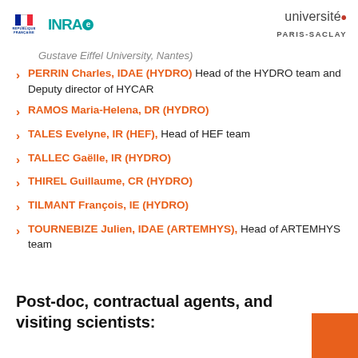[Figure (logo): République Française and INRAE logos on the left, Université Paris-Saclay logo on the right]
Gustave Eiffel University, Nantes)
PERRIN Charles, IDAE (HYDRO) Head of the HYDRO team and Deputy director of HYCAR
RAMOS Maria-Helena, DR (HYDRO)
TALES Evelyne, IR (HEF), Head of HEF team
TALLEC Gaëlle, IR (HYDRO)
THIREL Guillaume, CR (HYDRO)
TILMANT François, IE (HYDRO)
TOURNEBIZE Julien, IDAE (ARTEMHYS), Head of ARTEMHYS team
Post-doc, contractual agents, and visiting scientists: